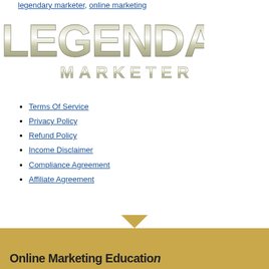legendary marketer, online marketing
[Figure (logo): Legendary Marketer logo with metallic silver 3D lettering on white background. Large text 'LEGENDARY' and smaller spaced text 'MARKETER' below.]
Terms Of Service
Privacy Policy
Refund Policy
Income Disclaimer
Compliance Agreement
Affiliate Agreement
Online Marketing Education